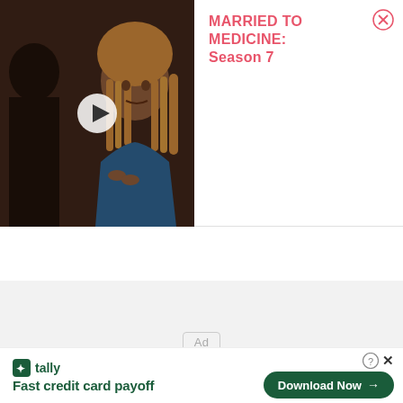[Figure (screenshot): Video thumbnail of a woman with braided hair in a blue outfit, with a white play button overlay. Dark/warm background.]
MARRIED TO MEDICINE: Season 7
[Figure (screenshot): Ad placeholder area with gray background and 'Ad' label in a rounded rectangle.]
[Figure (screenshot): Tally app advertisement banner at bottom: Tally logo, 'Fast credit card payoff' text, 'Download Now' green button with arrow, close and info icons.]